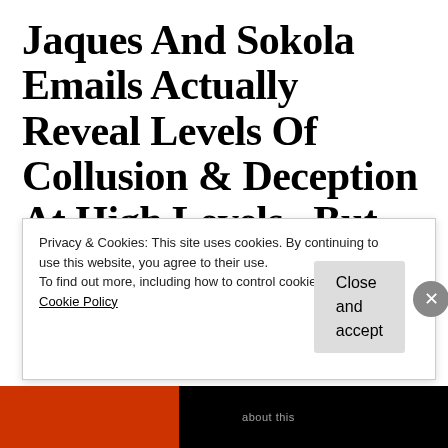Jaques And Sokola Emails Actually Reveal Levels Of Collusion & Deception At High Levels...But From Who?
An email from Delaware State Rep. Earl Jaques and State Senator David Sokola
Privacy & Cookies: This site uses cookies. By continuing to use this website, you agree to their use.
To find out more, including how to control cookies, see here: Cookie Policy
Close and accept